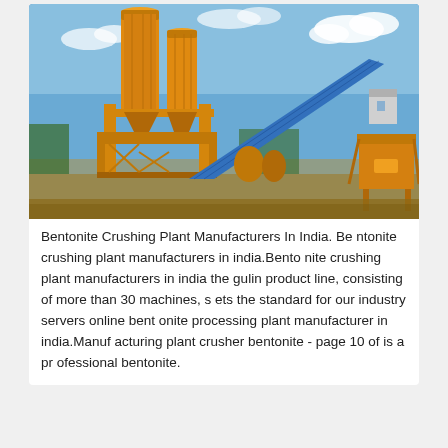[Figure (photo): Photograph of a bentonite crushing plant with large orange silos, yellow steel frame structures, a blue conveyor belt, and machinery against a partly cloudy blue sky.]
Bentonite Crushing Plant Manufacturers In India. Bentonite crushing plant manufacturers in india.Bentonite crushing plant manufacturers in india the gulin product line, consisting of more than 30 machines, sets the standard for our industry servers online bentonite processing plant manufacturer in india.Manufacturing plant crusher bentonite - page 10 of is a professional bentonite.